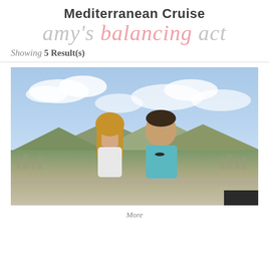Mediterranean Cruise
amy's balancing act
Showing 5 Result(s)
[Figure (photo): A couple standing outdoors with a scenic Mediterranean hillside city and cloudy blue sky in the background. Woman on left with long blonde hair wearing white top; man on right wearing light blue shirt with sunglasses.]
More